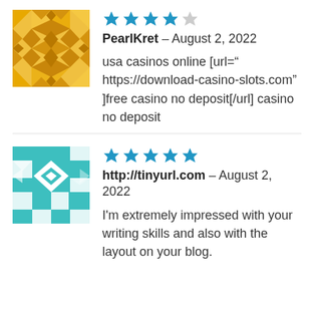[Figure (illustration): Golden/yellow geometric quilt-pattern avatar image]
★★★★☆ (4 out of 5 stars)
PearlKret – August 2, 2022
usa casinos online [url=" https://download-casino-slots.com" ]free casino no deposit[/url] casino no deposit
[Figure (illustration): Teal/turquoise geometric quilt-pattern avatar image]
★★★★★ (5 out of 5 stars)
http://tinyurl.com – August 2, 2022
I'm extremely impressed with your writing skills and also with the layout on your blog.